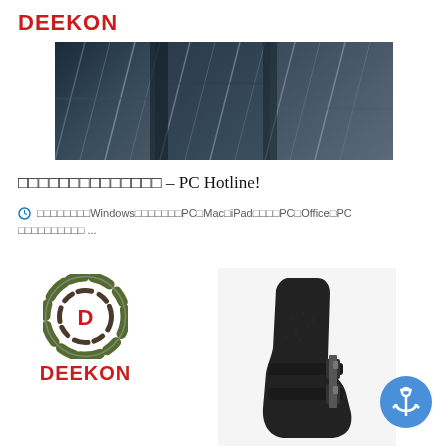[Figure (logo): DEEKON logo text in red bold letters at top]
[Figure (photo): Close-up photo of dark blue/grey striped fabric rolls]
□□□□□□□□□□□□□□ – PC Hotline!
🕐 □□□□□□□□WindowsとはPC□Mac□iPad□□□□PC□Office□PC □□□□□□□□□□ ...
[Figure (logo): DEEKON circular camouflage logo with D letter and DEEKON text below in red]
[Figure (photo): Black leather boot with buckles on white background]
[Figure (other): Blue circular anchor icon button]